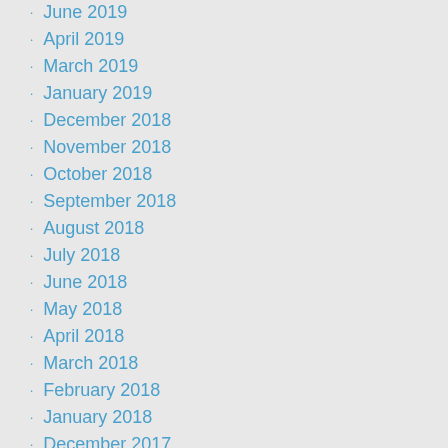June 2019
April 2019
March 2019
January 2019
December 2018
November 2018
October 2018
September 2018
August 2018
July 2018
June 2018
May 2018
April 2018
March 2018
February 2018
January 2018
December 2017
November 2017